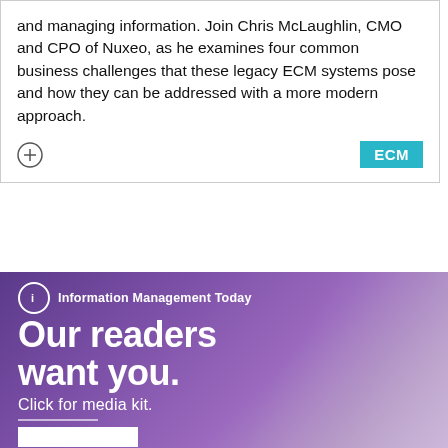and managing information. Join Chris McLaughlin, CMO and CPO of Nuxeo, as he examines four common business challenges that these legacy ECM systems pose and how they can be addressed with a more modern approach.
[Figure (infographic): Advertisement banner for Information Management Today. Features a purple gradient background with laptop imagery. Includes logo with 'i' icon and text 'Information Management Today', large headline 'Our readers want you.', subtext 'Click for media kit.' with a white divider line and partial white button at bottom.]